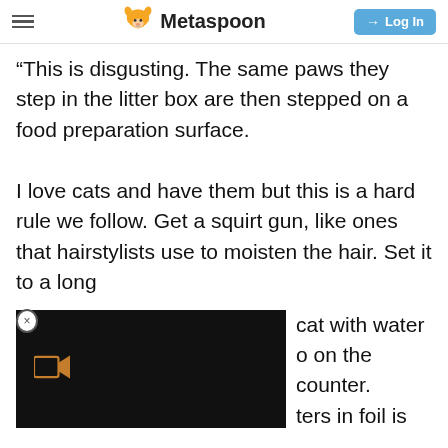Metaspoon | Log In
“This is disgusting. The same paws they step in the litter box are then stepped on a food preparation surface.

I love cats and have them but this is a hard rule we follow. Get a squirt gun, like ones that hairstylists use to moisten the hair. Set it to a long [stream and spritz the] cat with water [every time they jump] on the counter. [Wrapping the coun]ters in foil is
[Figure (screenshot): Black video player overlay with Metaspoon fox logo icon in orange, partially covering the lower portion of the text content]